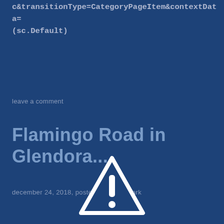c&transitionType=CategoryPageItem&contextData=(sc.Default)
leave a comment
Flamingo Road in Glendora...
december 24, 2018, posted in bruce shark
[Figure (illustration): Warning triangle icon with exclamation mark, white outline on dark blue background]